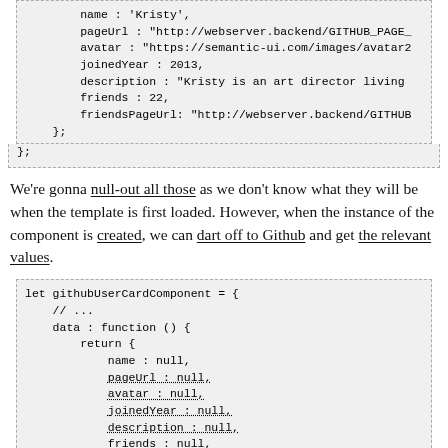[Figure (screenshot): Code block showing JavaScript object with properties: name: 'Kristy', pageUrl: 'http://webserver.backend/GITHUB_PAGE_...', avatar: 'https://semantic-ui.com/images/avatar2...', joinedYear: 2013, description: 'Kristy is an art director living...', friends: 22, friendsPageUrl: 'http://webserver.backend/GITHUB...', }; } };]
We're gonna null-out all those as we don't know what they will be when the template is first loaded. However, when the instance of the component is created, we can dart off to Github and get the relevant values.
[Figure (screenshot): Code block showing: let githubUserCardComponent = { // ... data : function () { return { name : null, pageUrl : null, avatar : null, joinedYear : null, description : null, friends : null, friendsPageUrl: null }; }, created () {]